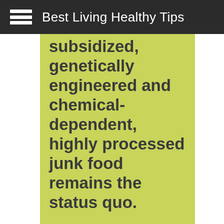Best Living Healthy Tips
subsidized, genetically engineered and chemical-dependent, highly processed junk food remains the status quo.
Most recently, the GMA has shown its true colors by